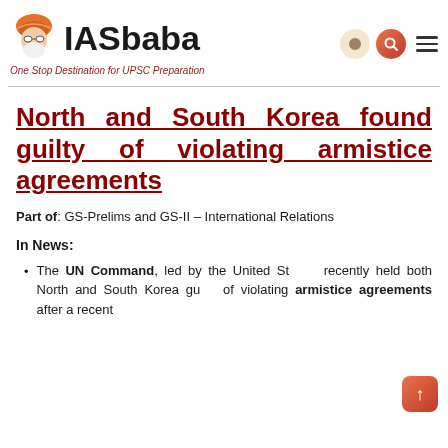IASbaba — One Stop Destination for UPSC Preparation
North and South Korea found guilty of violating armistice agreements
Part of: GS-Prelims and GS-II – International Relations
In News:
The UN Command, led by the United States, recently held both North and South Korea guilty of violating armistice agreements after a recent